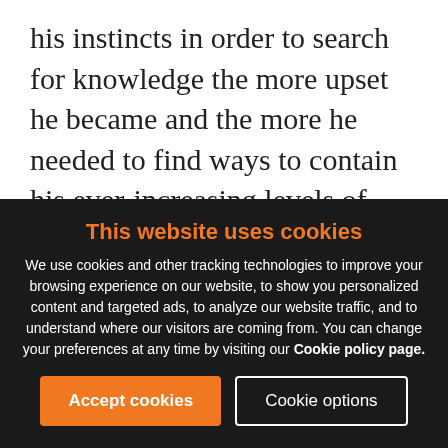his instincts in order to search for knowledge the more upset he became and the more he needed to find ways to contain his ever-increasing levels of upset behaviour if he was to maintain a semblance of order and functionality.

We humans developed four main ways or strategies to help contain our ever increasing levels of upset. The first strategy we developed was SELF DISCIPLINE, in response to the
This website uses cookies
We use cookies and other tracking technologies to improve your browsing experience on our website, to show you personalized content and targeted ads, to analyze our website traffic, and to understand where our visitors are coming from. You can change your preferences at any time by visiting our Cookie policy page.